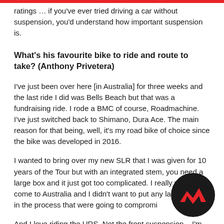ratings … if you've ever tried driving a car without suspension, you'd understand how important suspension is.
What's his favourite bike to ride and route to take? (Anthony Privetera)
I've just been over here [in Australia] for three weeks and the last ride I did was Bells Beach but that was a fundraising ride. I rode a BMC of course, Roadmachine. I've just switched back to Shimano, Dura Ace. The main reason for that being, well, it's my road bike of choice since the bike was developed in 2016.
I wanted to bring over my new SLR that I was given for 10 years of the Tour but with an integrated stem, you need a large box and it just got too complicated. I really wanted to come to Australia and I didn't want to put any large boxes in the process that were going to compromi
And I love riding the URS. Not the front suspension – I'm
[Figure (logo): Circular black logo with red angular mountain/chevron motif]